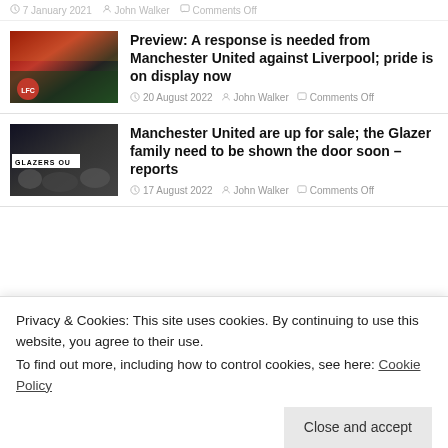7 January 2021  John Walker  Comments Off
[Figure (photo): Manchester United vs Liverpool football match thumbnail with red stadium backdrop]
Preview: A response is needed from Manchester United against Liverpool; pride is on display now
20 August 2022  John Walker  Comments Off
[Figure (photo): Manchester United fans with Glazers Out banner]
Manchester United are up for sale; the Glazer family need to be shown the door soon – reports
17 August 2022  John Walker  Comments Off
[Figure (photo): Dark red banner image at bottom of page]
Privacy & Cookies: This site uses cookies. By continuing to use this website, you agree to their use.
To find out more, including how to control cookies, see here: Cookie Policy
Close and accept